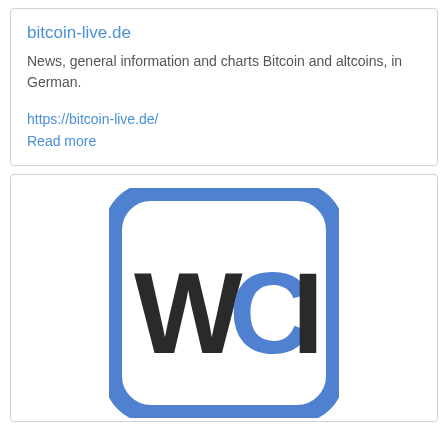bitcoin-live.de
News, general information and charts Bitcoin and altcoins, in German.
https://bitcoin-live.de/
Read more
[Figure (logo): WCI logo: a rounded square border in blue with the text 'WCI' inside, where W and I are dark/black and C is blue]